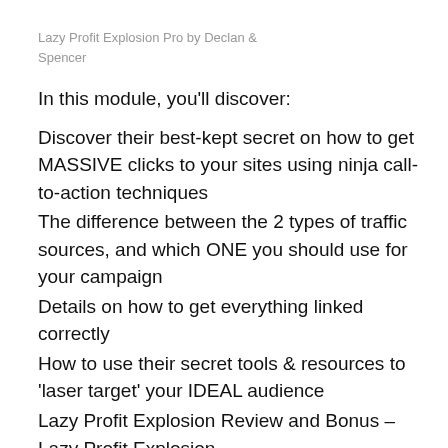Lazy Profit Explosion Pro by Declan & Spencer
In this module, you'll discover:
Discover their best-kept secret on how to get MASSIVE clicks to your sites using ninja call-to-action techniques
The difference between the 2 types of traffic sources, and which ONE you should use for your campaign
Details on how to get everything linked correctly
How to use their secret tools & resources to 'laser target' your IDEAL audience
Lazy Profit Explosion Review and Bonus – Lazy Profit Explosion
Advertisements